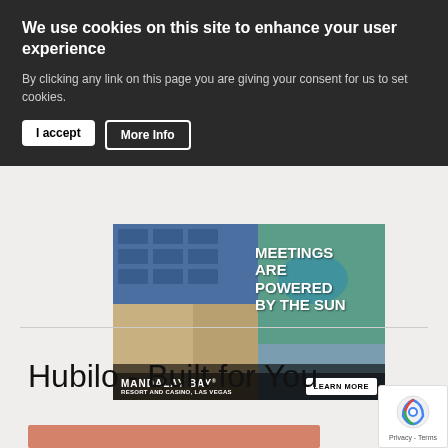We use cookies on this site to enhance your user experience
By clicking any link on this page you are giving your consent for us to set cookies.
I accept
More Info
[Figure (photo): Aerial view of Mandalay Bay Resort and Casino, Las Vegas, with text overlay: MEETINGS ARE POWERED BY THE SUN. Mandalay Bay Resort and Casino Las Vegas logo and LEARN MORE button at bottom.]
Hubilo - Built for You
[Figure (photo): Orange/terracotta colored image strip at bottom of page.]
[Figure (other): Google reCAPTCHA badge with Privacy - Terms text.]